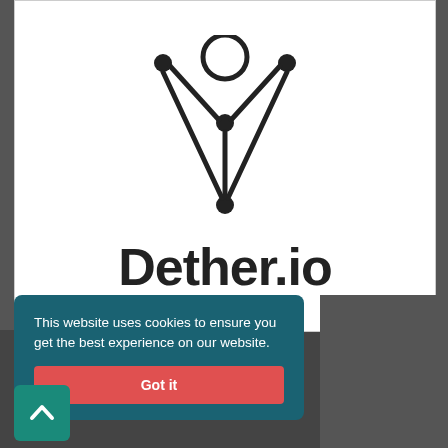[Figure (logo): Dether.io logo: stylized network/person figure with circles and lines above the text 'Dether.io' in bold sans-serif]
This website uses cookies to ensure you get the best experience on our website.
Got it